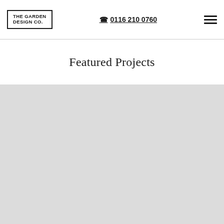THE GARDEN DESIGN Co. | ☎ 0116 210 0760
Featured Projects
[Figure (photo): Large gray placeholder image area representing a featured project photograph]